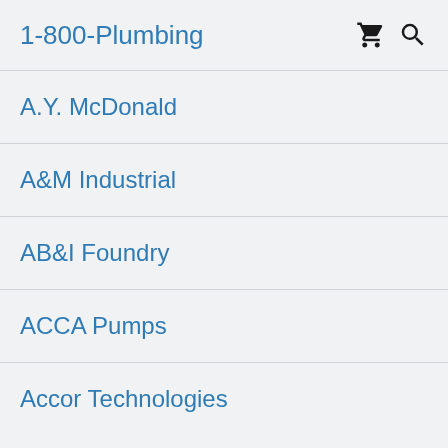1-800-Plumbing
A.Y. McDonald
A&M Industrial
AB&I Foundry
ACCA Pumps
Accor Technologies